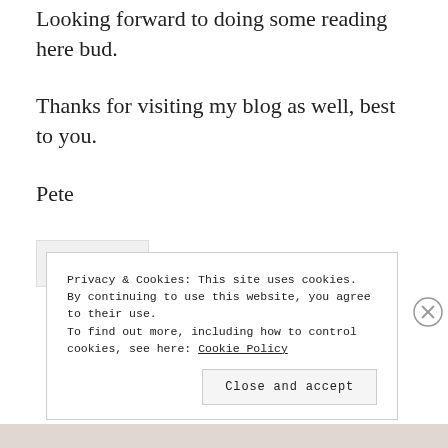Looking forward to doing some reading here bud.
Thanks for visiting my blog as well, best to you.
Pete
REPLY
Privacy & Cookies: This site uses cookies. By continuing to use this website, you agree to their use.
To find out more, including how to control cookies, see here: Cookie Policy
Close and accept